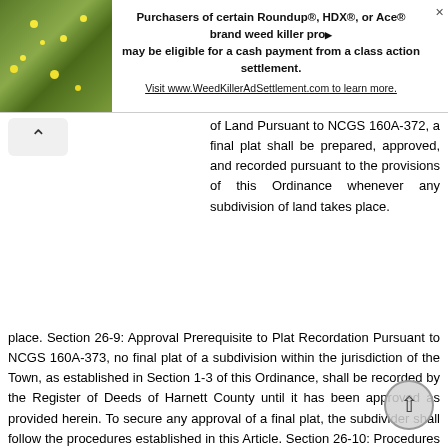[Figure (other): Advertisement banner for Roundup/HDX/Ace weed killer class action settlement with plant image on left and text on right]
of Land Pursuant to NCGS 160A-372, a final plat shall be prepared, approved, and recorded pursuant to the provisions of this Ordinance whenever any subdivision of land takes place. Section 26-9: Approval Prerequisite to Plat Recordation Pursuant to NCGS 160A-373, no final plat of a subdivision within the jurisdiction of the Town, as established in Section 1-3 of this Ordinance, shall be recorded by the Register of Deeds of Harnett County until it has been approved as provided herein. To secure any approval of a final plat, the subdivider shall follow the procedures established in this Article. Section 26-10: Procedures for Review of Major and Minor Subdivisions All subdivisions shall be considered major subdivisions ecept those defined as minor subdivisions by Section 2-2 (213). Major subdivisions shall be reviewed in accordance with the procedure in Sections 26-12, 26-13, and Minor